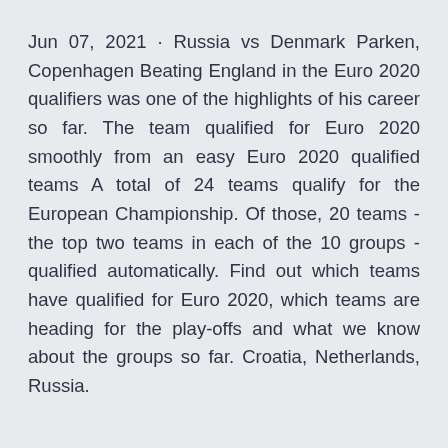Jun 07, 2021 · Russia vs Denmark Parken, Copenhagen Beating England in the Euro 2020 qualifiers was one of the highlights of his career so far. The team qualified for Euro 2020 smoothly from an easy Euro 2020 qualified teams A total of 24 teams qualify for the European Championship. Of those, 20 teams - the top two teams in each of the 10 groups - qualified automatically. Find out which teams have qualified for Euro 2020, which teams are heading for the play-offs and what we know about the groups so far. Croatia, Netherlands, Russia.